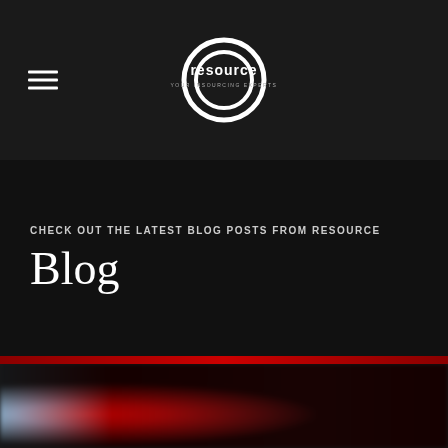resource — YOUR INSOURCING EXPERTS
CHECK OUT THE LATEST BLOG POSTS FROM RESOURCE
Blog
[Figure (photo): Blurred red and white image at the bottom of the page, appears to be a vehicle or race-related imagery]